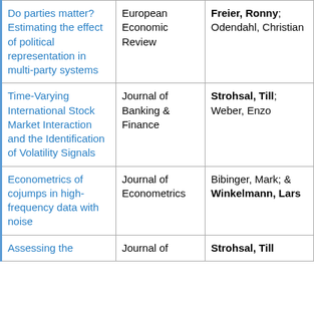| Title | Journal | Authors |
| --- | --- | --- |
| Do parties matter? Estimating the effect of political representation in multi-party systems | European Economic Review | Freier, Ronny; Odendahl, Christian |
| Time-Varying International Stock Market Interaction and the Identification of Volatility Signals | Journal of Banking & Finance | Strohsal, Till; Weber, Enzo |
| Econometrics of cojumps in high-frequency data with noise | Journal of Econometrics | Bibinger, Mark; & Winkelmann, Lars |
| Assessing the | Journal of | Strohsal, Till |